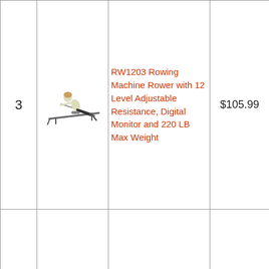| # | Image | Product Name | Price | Buy |
| --- | --- | --- | --- | --- |
| 3 | [rowing machine image] | RW1203 Rowing Machine Rower with 12 Level Adjustable Resistance, Digital Monitor and 220 LB Max Weight | $105.99 | Buy on Amazon |
| 4 | [rowing machine image] | Sunny Health & Fitness Magnetic Rowing Machine Rower with... | $249.00 | Buy on Amazon |